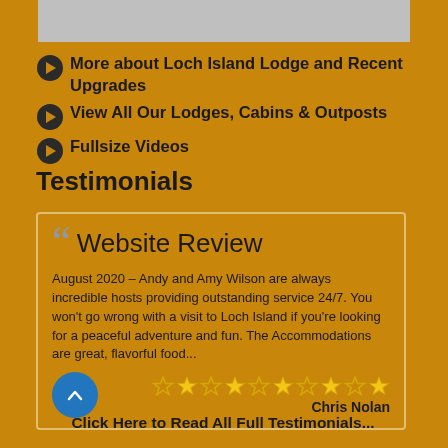[Figure (photo): Gray image placeholder at top of page]
More about Loch Island Lodge and Recent Upgrades
View All Our Lodges, Cabins & Outposts
Fullsize Videos
Testimonials
Website Review
August 2020 – Andy and Amy Wilson are always incredible hosts providing outstanding service 24/7. You won't go wrong with a visit to Loch Island if you're looking for a peaceful adventure and fun. The Accommodations are great, flavorful food...
Chris Nolan
Click Here to Read All Full Testimonials...